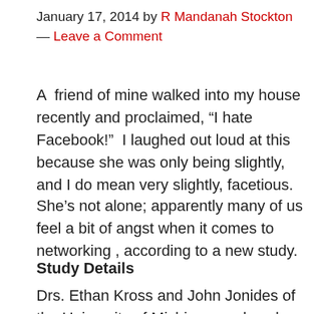January 17, 2014 by R Mandanah Stockton — Leave a Comment
A  friend of mine walked into my house recently and proclaimed, “I hate Facebook!”  I laughed out loud at this  because she was only being slightly, and I do mean very slightly, facetious.
She’s not alone; apparently many of us feel a bit of angst when it comes to networking , according to a new study.
Study Details
Drs. Ethan Kross and John Jonides of the University of Michigan analyzed the social media